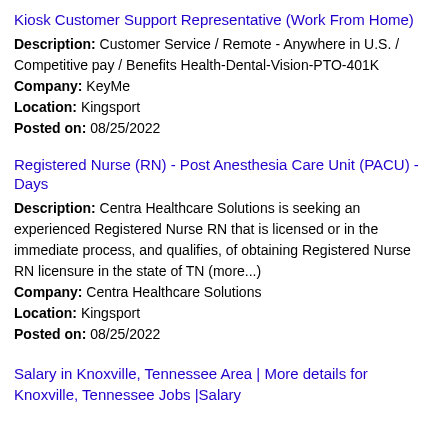Kiosk Customer Support Representative (Work From Home)
Description: Customer Service / Remote - Anywhere in U.S. / Competitive pay / Benefits Health-Dental-Vision-PTO-401K Company: KeyMe Location: Kingsport Posted on: 08/25/2022
Registered Nurse (RN) - Post Anesthesia Care Unit (PACU) - Days
Description: Centra Healthcare Solutions is seeking an experienced Registered Nurse RN that is licensed or in the immediate process, and qualifies, of obtaining Registered Nurse RN licensure in the state of TN (more...) Company: Centra Healthcare Solutions Location: Kingsport Posted on: 08/25/2022
Salary in Knoxville, Tennessee Area | More details for Knoxville, Tennessee Jobs |Salary